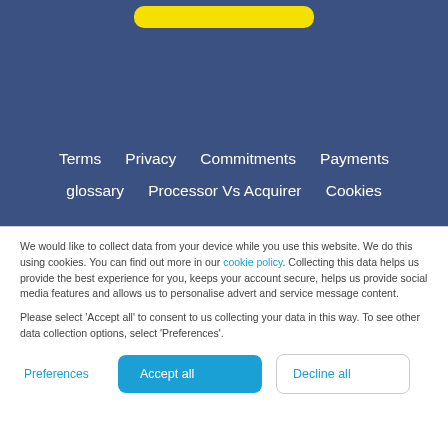[Figure (other): Yellow rounded bar at top of blue header section]
Terms  Privacy  Commitments  Payments  glossary  Processor Vs Acquirer  Cookies
We would like to collect data from your device while you use this website. We do this using cookies. You can find out more in our cookie policy. Collecting this data helps us provide the best experience for you, keeps your account secure, helps us provide social media features and allows us to personalise advert and service message content.
Please select 'Accept all' to consent to us collecting your data in this way. To see other data collection options, select 'Preferences'.
Preferences  Accept all  Decline all